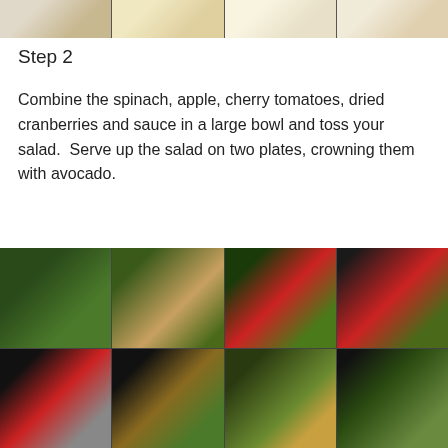[Figure (photo): Top strip showing four food preparation steps with hands and ingredients on a cutting board and bowls]
Step 2
Combine the spinach, apple, cherry tomatoes, dried cranberries and sauce in a large bowl and toss your salad.  Serve up the salad on two plates, crowning them with avocado.
[Figure (photo): 2x4 grid of photos showing the steps of combining salad ingredients: spinach, apple slices, cherry tomatoes, cranberries, dressing, tossing, and plating with avocado]